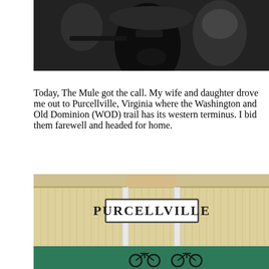[Figure (photo): Close-up photo of dark motorcycle equipment/handlebars against a blurry background]
Today, The Mule got the call. My wife and daughter drove me out to Purcellville, Virginia where the Washington and Old Dominion (WOD) trail has its western terminus. I bid them farewell and headed for home.
[Figure (photo): Purcellville train station building with cream/yellow board-and-batten siding, white columns, a sign reading PURCELLVILLE, and a teal/green lower section with bicycles parked in front]